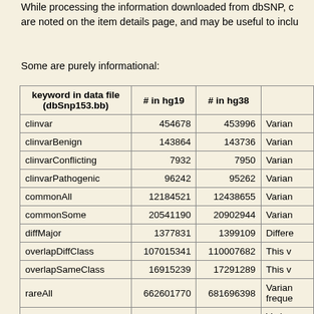While processing the information downloaded from dbSNP, certain keywords are noted on the item details page, and may be useful to inclu
Some are purely informational:
| keyword in data file (dbSnp153.bb) | # in hg19 | # in hg38 |  |
| --- | --- | --- | --- |
| clinvar | 454678 | 453996 | Varian |
| clinvarBenign | 143864 | 143736 | Varian |
| clinvarConflicting | 7932 | 7950 | Varian |
| clinvarPathogenic | 96242 | 95262 | Varian |
| commonAll | 12184521 | 12438655 | Varian |
| commonSome | 20541190 | 20902944 | Varian |
| diffMajor | 1377831 | 1399109 | Differe |
| overlapDiffClass | 107015341 | 110007682 | This v |
| overlapSameClass | 16915239 | 17291289 | This v |
| rareAll | 662601770 | 681696398 | Varian freque |
|  |  |  | Varian |